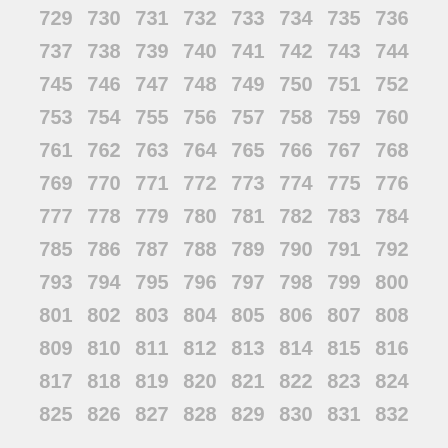729 730 731 732 733 734 735 736 737 738 739 740 741 742 743 744 745 746 747 748 749 750 751 752 753 754 755 756 757 758 759 760 761 762 763 764 765 766 767 768 769 770 771 772 773 774 775 776 777 778 779 780 781 782 783 784 785 786 787 788 789 790 791 792 793 794 795 796 797 798 799 800 801 802 803 804 805 806 807 808 809 810 811 812 813 814 815 816 817 818 819 820 821 822 823 824 825 826 827 828 829 830 831 832